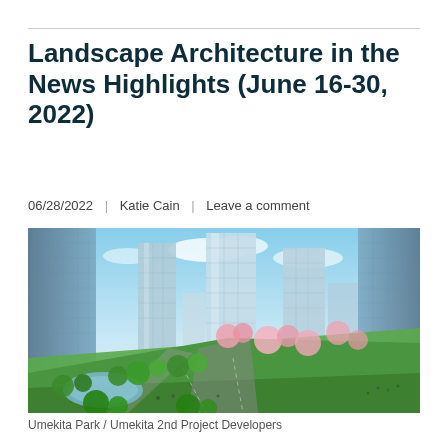Landscape Architecture in the News Highlights (June 16-30, 2022)
06/28/2022  |  Katie Cain  |  Leave a comment
[Figure (photo): Aerial perspective rendering of Umekita Park showing green park space surrounded by tall glass skyscrapers, with flowering trees, pedestrian paths, a water feature, and crowds of people in a dense urban setting in Japan.]
Umekita Park / Umekita 2nd Project Developers